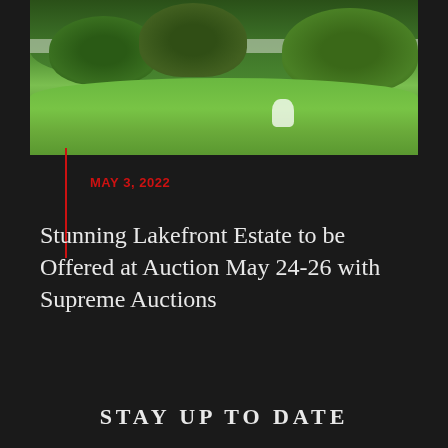[Figure (photo): Aerial or ground-level view of a lush green garden/lawn with shrubs, hedges, a white fence, and two white figures visible on the lawn against a dark background.]
MAY 3, 2022
Stunning Lakefront Estate to be Offered at Auction May 24-26 with Supreme Auctions
STAY UP TO DATE